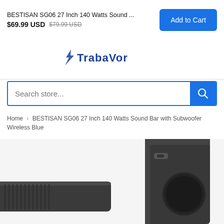BESTISAN SG06 27 Inch 140 Watts Sound ...
$69.99 USD  $79.99 USD
Add to Cart
[Figure (logo): Bestavel / Trabartor brand logo in blue text with lightning bolt icon]
Search store...
Home › BESTISAN SG06 27 Inch 140 Watts Sound Bar with Subwoofer Wireless Blue
[Figure (photo): Product photo showing partial view of a dark gray BESTISAN sound bar on the left and a dark gray rectangular subwoofer with circular port on the right, both on white background]